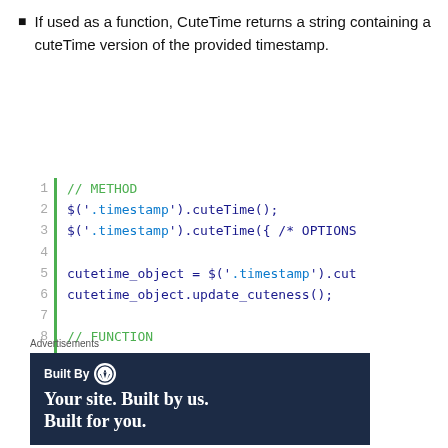If used as a function, CuteTime returns a string containing a cuteTime version of the provided timestamp.
[Figure (screenshot): Code block showing METHOD and FUNCTION usage of cuteTime jQuery plugin with line numbers 1-10 and a green vertical bar. Comments in green, strings in blue, code in dark blue/black monospace font.]
Advertisements
[Figure (illustration): WordPress 'Built By' advertisement banner with dark navy background, WordPress logo, and text 'Your site. Built by us. Built for you.' in white serif font.]